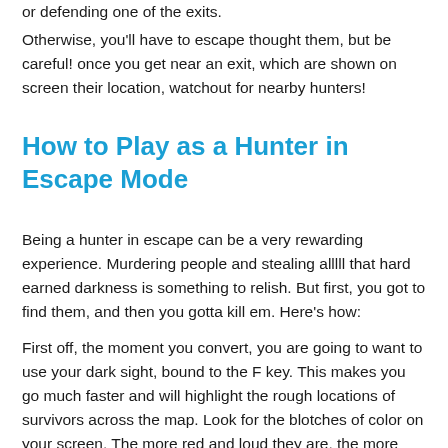or defending one of the exits.
Otherwise, you'll have to escape thought them, but be careful! once you get near an exit, which are shown on screen their location, watchout for nearby hunters!
How to Play as a Hunter in Escape Mode
Being a hunter in escape can be a very rewarding experience. Murdering people and stealing alllll that hard earned darkness is something to relish. But first, you got to find them, and then you gotta kill em. Here's how:
First off, the moment you convert, you are going to want to use your dark sight, bound to the F key. This makes you go much faster and will highlight the rough locations of survivors across the map. Look for the blotches of color on your screen. The more red and loud they are, the more darkness that person has. Move towards them until the blot of color covers